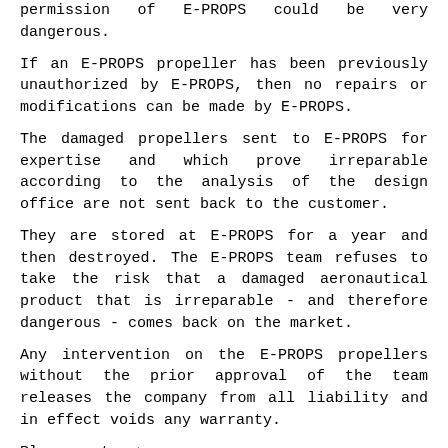permission of E-PROPS could be very dangerous.
If an E-PROPS propeller has been previously unauthorized by E-PROPS, then no repairs or modifications can be made by E-PROPS.
The damaged propellers sent to E-PROPS for expertise and which prove irreparable according to the analysis of the design office are not sent back to the customer.
They are stored at E-PROPS for a year and then destroyed. The E-PROPS team refuses to take the risk that a damaged aeronautical product that is irreparable - and therefore dangerous - comes back on the market.
Any intervention on the E-PROPS propellers without the prior approval of the team releases the company from all liability and in effect voids any warranty.
Please note =>
When a parcel is shipped to E-PROPS by a customer for a repair or a component change : the shipping costs, the mandatory insurance of the parcel and the potential customs duties must be paid by the customer.